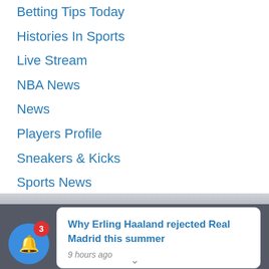Betting Tips Today
Histories In Sports
Live Stream
NBA News
News
Players Profile
Sneakers & Kicks
Sports News
Uncategorized
2022 © Des
Why Erling Haaland rejected Real Madrid this summer
9 hours ago